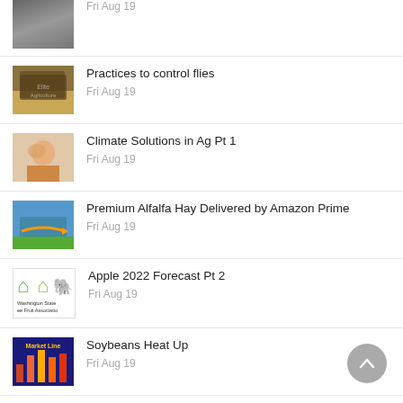Fri Aug 19
Practices to control flies
Fri Aug 19
Climate Solutions in Ag Pt 1
Fri Aug 19
Premium Alfalfa Hay Delivered by Amazon Prime
Fri Aug 19
Apple 2022 Forecast Pt 2
Fri Aug 19
Soybeans Heat Up
Fri Aug 19